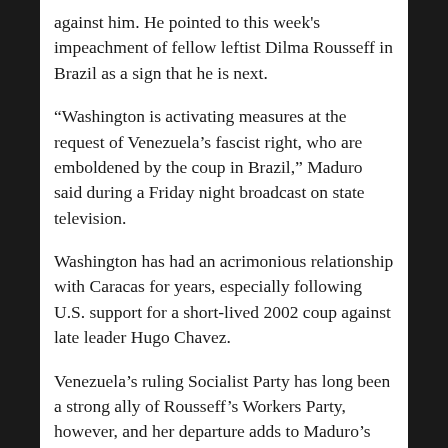against him. He pointed to this week's impeachment of fellow leftist Dilma Rousseff in Brazil as a sign that he is next.
“Washington is activating measures at the request of Venezuela’s fascist right, who are emboldened by the coup in Brazil,” Maduro said during a Friday night broadcast on state television.
Washington has had an acrimonious relationship with Caracas for years, especially following U.S. support for a short-lived 2002 coup against late leader Hugo Chavez.
Venezuela’s ruling Socialist Party has long been a strong ally of Rousseff’s Workers Party, however, and her departure adds to Maduro’s isolation in